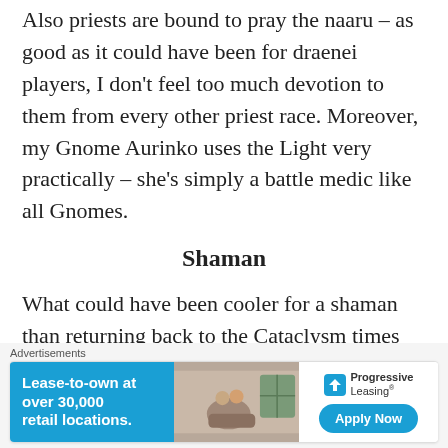Also priests are bound to pray the naaru – as good as it could have been for draenei players, I don't feel too much devotion to them from every other priest race. Moreover, my Gnome Aurinko uses the Light very practically – she's simply a battle medic like all Gnomes.
Shaman
What could have been cooler for a shaman than returning back to the Cataclysm times when Earthen Ring ruled out the whole business of elements?
The next line partially visible at bottom
[Figure (other): Advertisement banner for Progressive Leasing with text 'Lease-to-own at over 30,000 retail locations.' with Apply Now button]